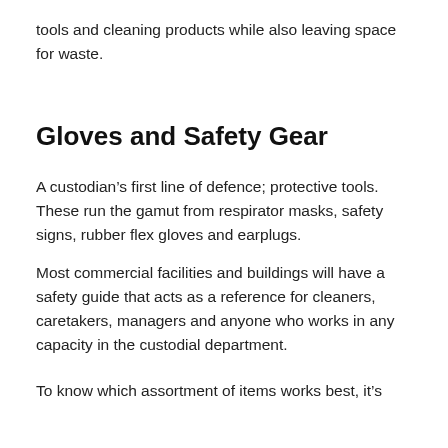tools and cleaning products while also leaving space for waste.
Gloves and Safety Gear
A custodian’s first line of defence; protective tools. These run the gamut from respirator masks, safety signs, rubber flex gloves and earplugs.
Most commercial facilities and buildings will have a safety guide that acts as a reference for cleaners, caretakers, managers and anyone who works in any capacity in the custodial department.
To know which assortment of items works best, it’s